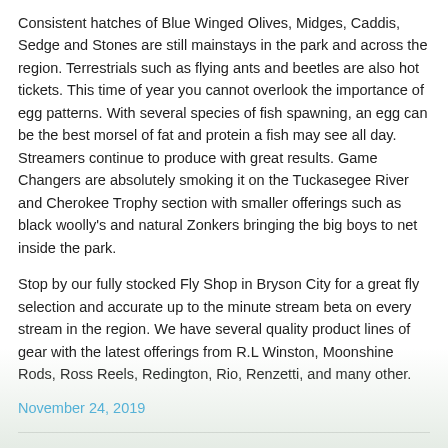Consistent hatches of Blue Winged Olives, Midges, Caddis, Sedge and Stones are still mainstays in the park and across the region. Terrestrials such as flying ants and beetles are also hot tickets. This time of year you cannot overlook the importance of egg patterns. With several species of fish spawning, an egg can be the best morsel of fat and protein a fish may see all day. Streamers continue to produce with great results. Game Changers are absolutely smoking it on the Tuckasegee River and Cherokee Trophy section with smaller offerings such as black woolly's and natural Zonkers bringing the big boys to net inside the park.
Stop by our fully stocked Fly Shop in Bryson City for a great fly selection and accurate up to the minute stream beta on every stream in the region. We have several quality product lines of gear with the latest offerings from R.L Winston, Moonshine Rods, Ross Reels, Redington, Rio, Renzetti, and many other.
November 24, 2019
Great Smoky Mountains Fishing Report July 25, 2019